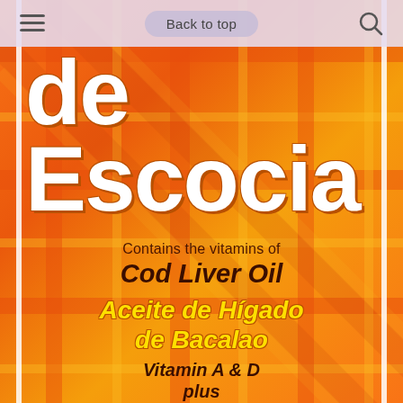[Figure (photo): Product label screenshot showing 'de Escocia' cod liver oil supplement label with orange/red plaid background. Contains text in English and Spanish about Cod Liver Oil (Aceite de Hígado de Bacalao) with Vitamin A & D.]
Back to top
de Escocia
Contains the vitamins of
Cod Liver Oil
Aceite de Hígado de Bacalao
Vitamin A & D
plus